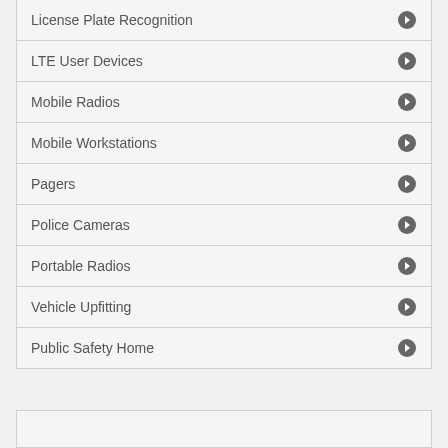License Plate Recognition
LTE User Devices
Mobile Radios
Mobile Workstations
Pagers
Police Cameras
Portable Radios
Vehicle Upfitting
Public Safety Home